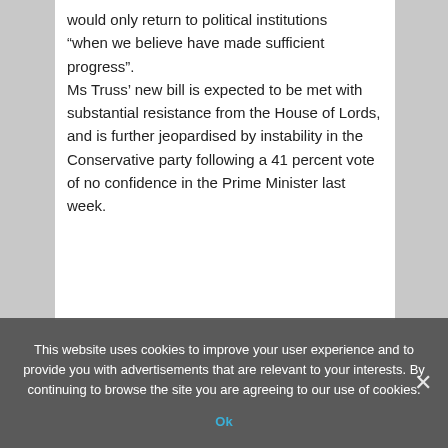would only return to political institutions “when we believe have made sufficient progress”.
Ms Truss’ new bill is expected to be met with substantial resistance from the House of Lords, and is further jeopardised by instability in the Conservative party following a 41 percent vote of no confidence in the Prime Minister last week.
This website uses cookies to improve your user experience and to provide you with advertisements that are relevant to your interests. By continuing to browse the site you are agreeing to our use of cookies.
Ok